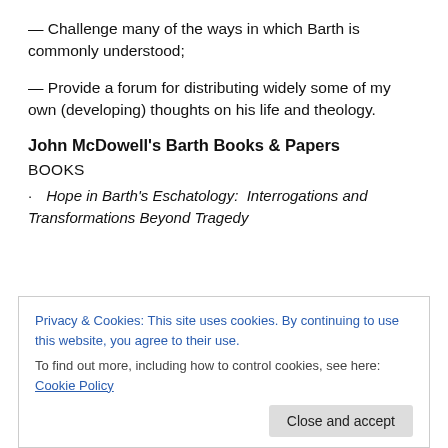— Challenge many of the ways in which Barth is commonly understood;
— Provide a forum for distributing widely some of my own (developing) thoughts on his life and theology.
John McDowell's Barth Books & Papers
BOOKS
· Hope in Barth's Eschatology: Interrogations and Transformations Beyond Tragedy
Privacy & Cookies: This site uses cookies. By continuing to use this website, you agree to their use. To find out more, including how to control cookies, see here: Cookie Policy
Close and accept